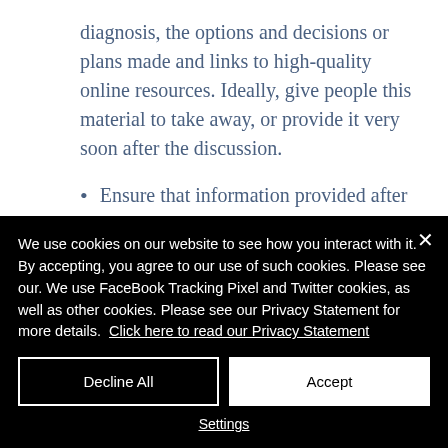diagnosis, the options and decisions or plans made and links to high-quality online resources. Ideally, give people this material to take away, or provide it very soon after the discussion.
Ensure that information provided after discussions include details
We use cookies on our website to see how you interact with it. By accepting, you agree to our use of such cookies. Please see our. We use FaceBook Tracking Pixel and Twitter cookies, as well as other cookies. Please see our Privacy Statement for more details.  Click here to read our Privacy Statement